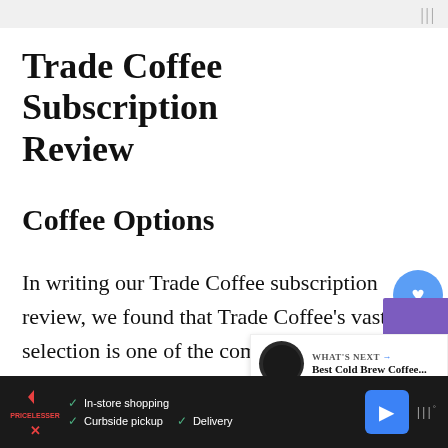Trade Coffee Subscription Review
Coffee Options
In writing our Trade Coffee subscription review, we found that Trade Coffee’s vast selection is one of the company’s most essential and astounding features. Trade Coffee boasts an ensemble of coffees from which to choose. Previously, we reviewed the top coffee of the month clubs. Trade co
In-store shopping  Curbside pickup  Delivery